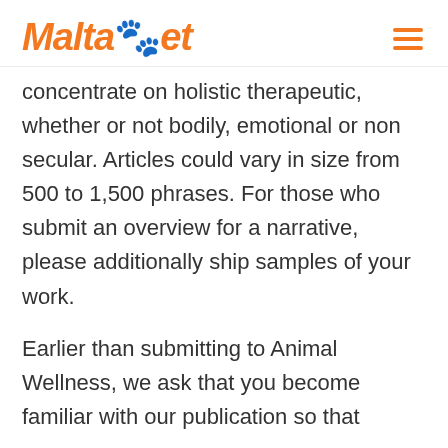MaltaPet
concentrate on holistic therapeutic, whether or not bodily, emotional or non secular. Articles could vary in size from 500 to 1,500 phrases. For those who submit an overview for a narrative, please additionally ship samples of your work.
Earlier than submitting to Animal Wellness, we ask that you become familiar with our publication so that